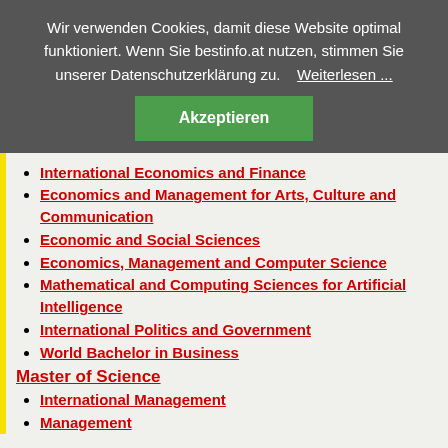Wir verwenden Cookies, damit diese Website optimal funktioniert. Wenn Sie bestinfo.at nutzen, stimmen Sie unserer Datenschutzerklärung zu.   Weiterlesen ...
Akzeptieren
International Economics and Finance
Economics and Management for Arts, Culture and Communication
Economic and Social Sciences
Economics, Management and Computer Science
Mathematical and Computing Sciences for Artificial Intelligence
International Politics and Government
World Bachelor in Business
Master of Science
International Management
Management